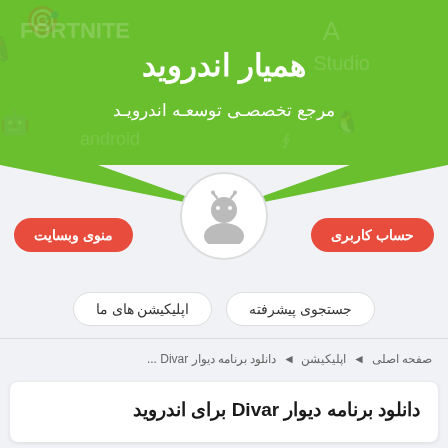همیار اندروید
مرجع تخصصی توسعه اندروید
منوی وبسایت
حساب کاربری
جستجوی پیشرفته
اپلیکیشن های ما
صفحه اصلی ◄ اپلیکیشن ◄ دانلود برنامه دیوار Divar ...
دانلود برنامه دیوار Divar برای اندروید